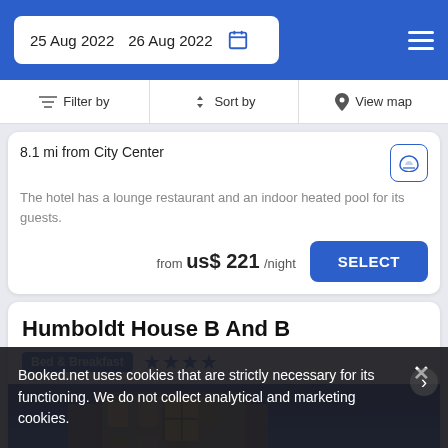25 Aug 2022   26 Aug 2022
Filter by   Sort by   View map
8.1 mi from City Center
The hotel has a lounge restaurant and an indoor heated pool for its guests.
from  us$ 221 /night   SELECT
Humboldt House B And B
Bed & Breakfast  ★★★★
[Figure (photo): Photo of Humboldt House B And B exterior building at night with illuminated windows against blue sky]
Booked.net uses cookies that are strictly necessary for its functioning. We do not collect analytical and marketing cookies.